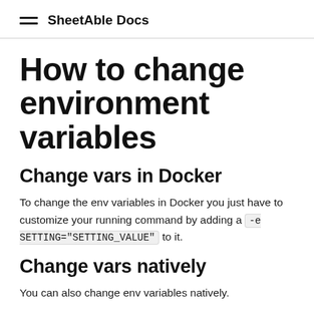SheetAble Docs
How to change environment variables
Change vars in Docker
To change the env variables in Docker you just have to customize your running command by adding a -e SETTING="SETTING_VALUE" to it.
Change vars natively
You can also change env variables natively.